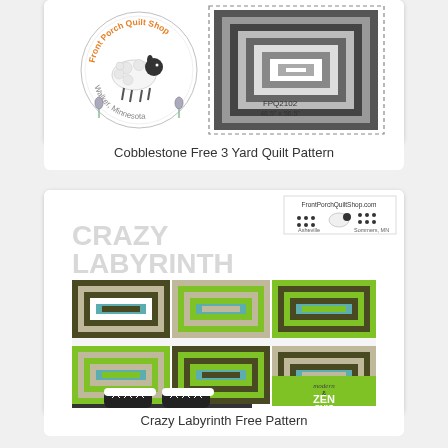[Figure (illustration): Cobblestone Free 3 Yard Quilt Pattern product image showing a quilt block pattern with a Front Porch Quilt Shop circular logo/stamp and pattern code FPQ2102, 48.5 x 56.5 inches]
Cobblestone Free 3 Yard Quilt Pattern
[Figure (photo): Crazy Labyrinth Free Pattern product image showing a colorful quilt with concentric square blocks in green, dark brown/olive, tan, white, and teal, with a pair of sneakers visible at the bottom. 'CRAZY LABYRINTH' text displayed at top. Modern Zen Chic branding logo visible.]
Crazy Labyrinth Free Pattern